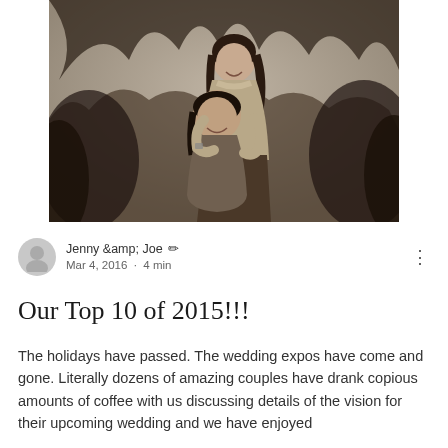[Figure (photo): Black and white photo of two smiling women outdoors, embracing among bare winter trees and shrubs. The woman in back is taller and wearing a coat; the woman in front is wearing a scarf.]
Jenny &amp; Joe ✏
Mar 4, 2016 · 4 min
Our Top 10 of 2015!!!
The holidays have passed. The wedding expos have come and gone. Literally dozens of amazing couples have drank copious amounts of coffee with us discussing details of the vision for their upcoming wedding and we have enjoyed